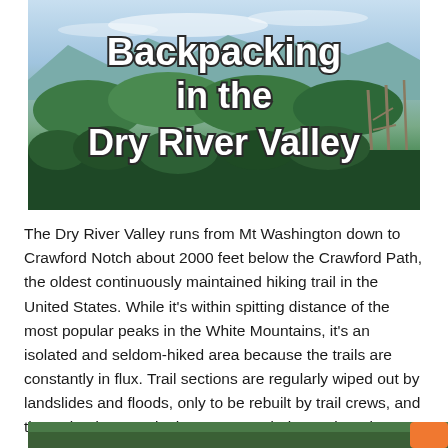[Figure (photo): Aerial/elevated view of forested mountain valley with sky and distant peaks. Text overlay reads 'Backpacking in the Dry River Valley' in bold white font with dark outline.]
The Dry River Valley runs from Mt Washington down to Crawford Notch about 2000 feet below the Crawford Path, the oldest continuously maintained hiking trail in the United States. While it's within spitting distance of the most popular peaks in the White Mountains, it's an isolated and seldom-hiked area because the trails are constantly in flux. Trail sections are regularly wiped out by landslides and floods, only to be rebuilt by trail crews, and then wiped out again the next year during major rain events.
[Figure (photo): Partial bottom image of a forested trail or river area, with orange button element at bottom right.]